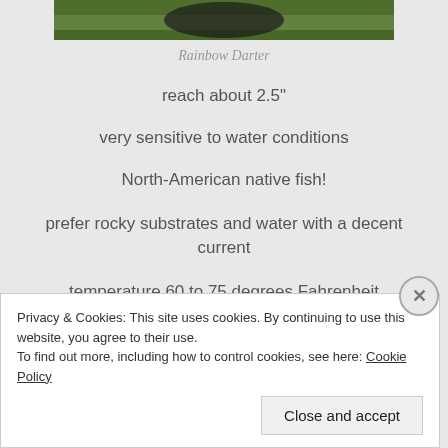[Figure (photo): Partial photo of a Rainbow Darter fish, showing top portion with green background]
Rainbow Darter
reach about 2.5"
very sensitive to water conditions
North-American native fish!
prefer rocky substrates and water with a decent current
temperature 60 to 75 degrees Fahrenheit
Privacy & Cookies: This site uses cookies. By continuing to use this website, you agree to their use.
To find out more, including how to control cookies, see here: Cookie Policy